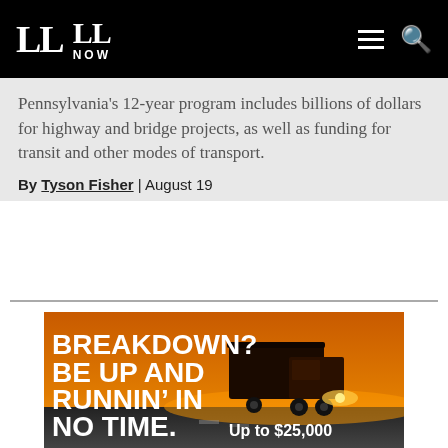LL | LL NOW
Pennsylvania's 12-year program includes billions of dollars for highway and bridge projects, as well as funding for transit and other modes of transport.
By Tyson Fisher | August 19
[Figure (photo): Advertisement showing a semi-truck driving at sunset/night with orange sky background and text: BREAKDOWN? BE UP AND RUNNIN' IN NO TIME. Up to $25,000]